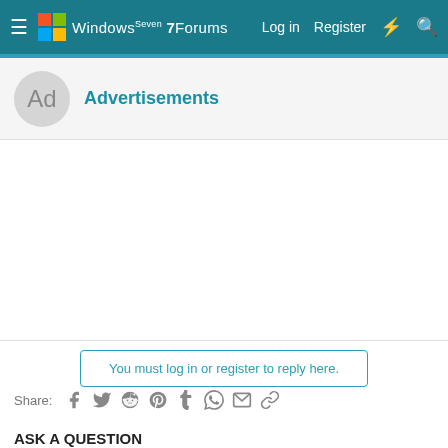Windows 7 Forums — Log in | Register
Advertisements
[Figure (other): Advertisement placeholder area (white box)]
You must log in or register to reply here.
Share:
ASK A QUESTION